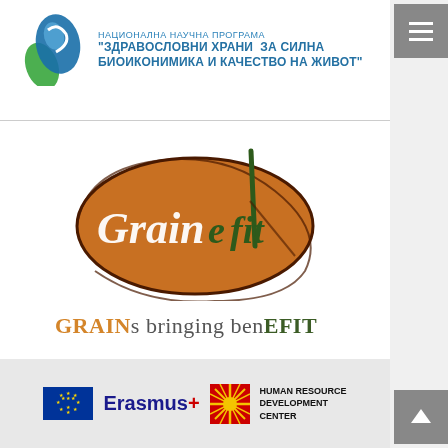[Figure (logo): Bulgarian National Science Programme logo with blue/green emblem and Cyrillic text: НАЦИОНАЛНА НАУЧНА ПРОГРАМА "ЗДРАВОСЛОВНИ ХРАНИ ЗА СИЛНА БИОИКОНИМИКА И КАЧЕСТВО НА ЖИВОТ"]
[Figure (logo): Grainefit project logo - orange oval with cursive Grain and italic eFit text in white and dark green, with tagline GRAINs bringing benEFIT]
[Figure (logo): Erasmus+ logo with EU flag and Human Resource Development Center logo]